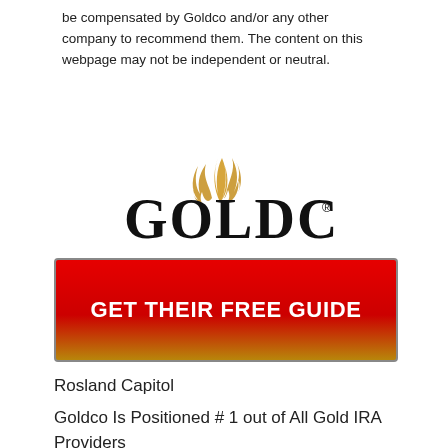be compensated by Goldco and/or any other company to recommend them. The content on this webpage may not be independent or neutral.
[Figure (logo): Goldco logo with golden flame/swirl above the word GOLDCO in large serif font, with a registered trademark symbol]
[Figure (other): Red and gold gradient CTA button with text GET THEIR FREE GUIDE in bold white uppercase letters]
Rosland Capitol
Goldco Is Positioned # 1 out of All Gold IRA Providers